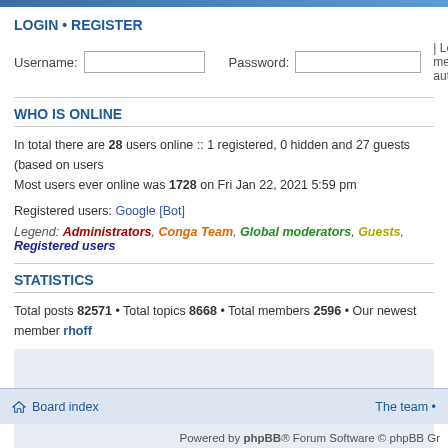LOGIN • REGISTER
Username:  Password:  | Log me on autom
WHO IS ONLINE
In total there are 28 users online :: 1 registered, 0 hidden and 27 guests (based on users
Most users ever online was 1728 on Fri Jan 22, 2021 5:59 pm
Registered users: Google [Bot]
Legend: Administrators, Conga Team, Global moderators, Guests, Registered users
STATISTICS
Total posts 82571 • Total topics 8668 • Total members 2596 • Our newest member rhoff
[Figure (other): Advertisement or content placeholder box]
Board index   The team •
Powered by phpBB® Forum Software © phpBB Gr